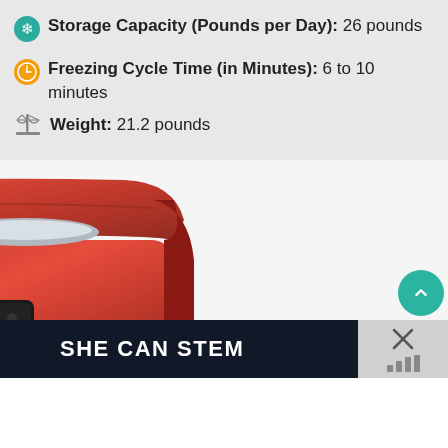Storage Capacity (Pounds per Day): 26 pounds
Freezing Cycle Time (in Minutes): 6 to 10 minutes
Weight: 21.2 pounds
[Figure (photo): Red countertop portable ice maker machine with black control panel and silver trim stripe]
SHE CAN STEM